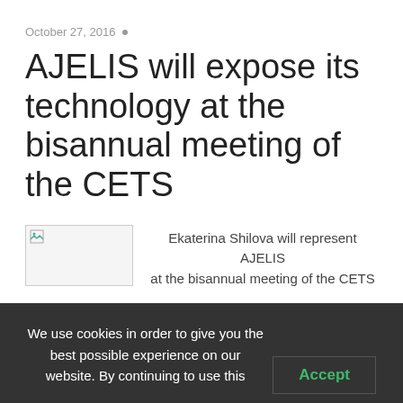October 27, 2016
AJELIS will expose its technology at the bisannual meeting of the CETS
[Figure (photo): Small thumbnail image placeholder with broken image icon]
Ekaterina Shilova will represent AJELIS at the bisannual meeting of the CETS
We use cookies in order to give you the best possible experience on our website. By continuing to use this site, you agree to our use of cookies.
Accept
Reject
Read More...